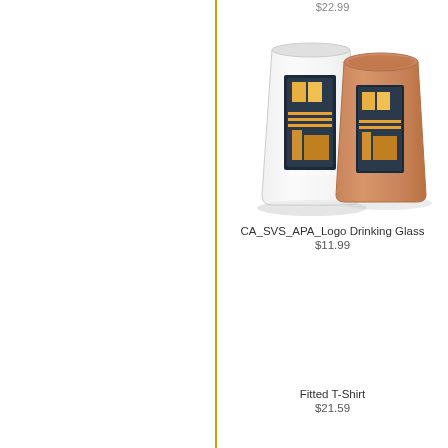$22.99
[Figure (photo): Two drinking glasses with CA_SVS_APA_Logo printed on them — one frosted/clear glass and one amber/brown glass, both showing an architectural image with bold letters]
CA_SVS_APA_Logo Drinking Glass
$11.99
Fitted T-Shirt
$21.59